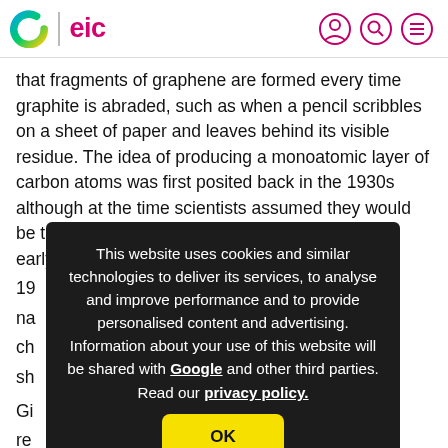C | eic
that fragments of graphene are formed every time graphite is abraded, such as when a pencil scribbles on a sheet of paper and leaves behind its visible residue. The idea of producing a monoatomic layer of carbon atoms was first posited back in the 1930s although at the time scientists assumed they would be too unstable to be fabricated. It wasn't until the early 19... na... ch... e sh...
Gi... re... ap... sc...
This website uses cookies and similar technologies to deliver its services, to analyse and improve performance and to provide personalised content and advertising. Information about your use of this website will be shared with Google and other third parties. Read our privacy policy.